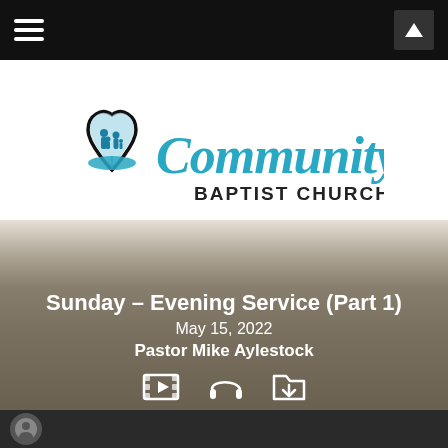Navigation bar with hamburger menu and up button
[Figure (logo): Community Baptist Church logo with heart, open book, family silhouette, and teal script text reading 'Community BAPTIST CHURCH']
Sunday – Evening Service (Part 1)
May 15, 2022
Pastor Mike Aylestock
[Figure (infographic): Three icons: film strip (video), headphones (audio), folder with down arrow (download)]